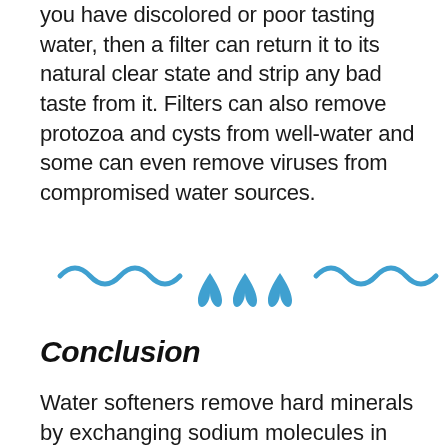you have discolored or poor tasting water, then a filter can return it to its natural clear state and strip any bad taste from it. Filters can also remove protozoa and cysts from well-water and some can even remove viruses from compromised water sources.
[Figure (illustration): Decorative water illustration: two wavy blue lines on left and right sides, with three blue water droplet icons in the center]
Conclusion
Water softeners remove hard minerals by exchanging sodium molecules in their place. This will stop limescale from appearing and is